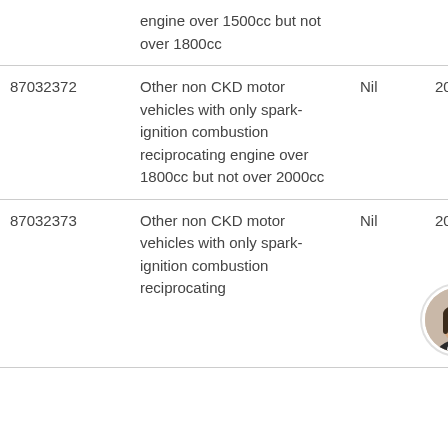|  | engine over 1500cc but not over 1800cc |  |  |
| 87032372 | Other non CKD motor vehicles with only spark-ignition combustion reciprocating engine over 1800cc but not over 2000cc | Nil | 20% |
| 87032373 | Other non CKD motor vehicles with only spark-ignition combustion reciprocating | Nil | 20% |